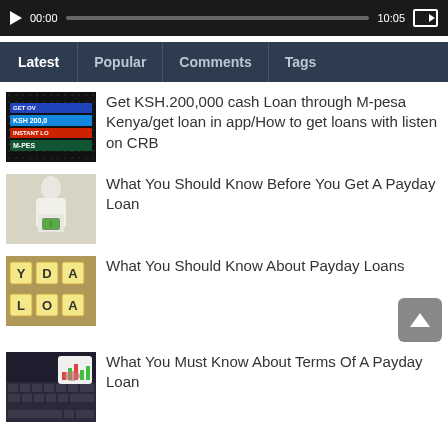[Figure (screenshot): Video player control bar showing 00:00 and 10:05 timestamps with progress bar]
[Figure (screenshot): Navigation tab bar with Latest, Popular, Comments, Tags tabs on dark background]
[Figure (screenshot): Thumbnail for M-pesa Kenya loan video showing mobile app screen]
Get KSH.200,000 cash Loan through M-pesa Kenya/get loan in app/How to get loans with listen on CRB
[Figure (photo): Person in white holding cash money]
What You Should Know Before You Get A Payday Loan
[Figure (photo): Scrabble tiles spelling PAYDAY LOAN]
What You Should Know About Payday Loans
[Figure (photo): Laptop keyboard and phone with financial charts]
What You Must Know About Terms Of A Payday Loan